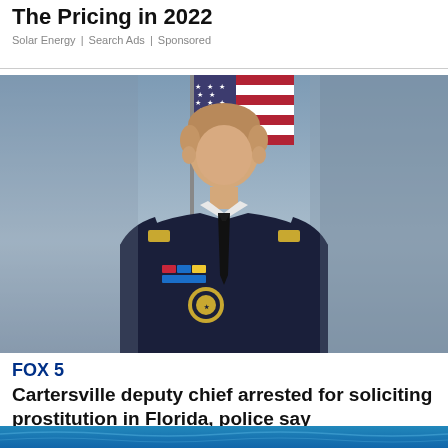The Pricing in 2022
Solar Energy | Search Ads | Sponsored
[Figure (photo): Official portrait photo of a police officer in dark navy uniform with gold insignia, ribbons, and badge, standing in front of an American flag against a grey-blue background.]
FOX 5
Cartersville deputy chief arrested for soliciting prostitution in Florida, police say
[Figure (photo): Bottom strip showing a blue water/ocean image, partially visible.]